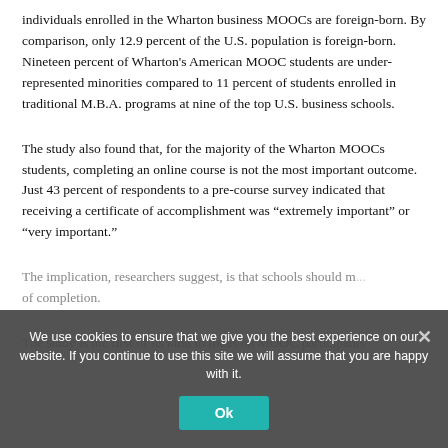individuals enrolled in the Wharton business MOOCs are foreign-born. By comparison, only 12.9 percent of the U.S. population is foreign-born. Nineteen percent of Wharton's American MOOC students are under-represented minorities compared to 11 percent of students enrolled in traditional M.B.A. programs at nine of the top U.S. business schools.
The study also found that, for the majority of the Wharton MOOCs students, completing an online course is not the most important outcome. Just 43 percent of respondents to a pre-course survey indicated that receiving a certificate of accomplishment was “extremely important” or “very important.”
The implication, researchers suggest, is that schools should m... of completion.
The study is the first of its kind to focus on MOOC participants
We use cookies to ensure that we give you the best experience on our website. If you continue to use this site we will assume that you are happy with it.